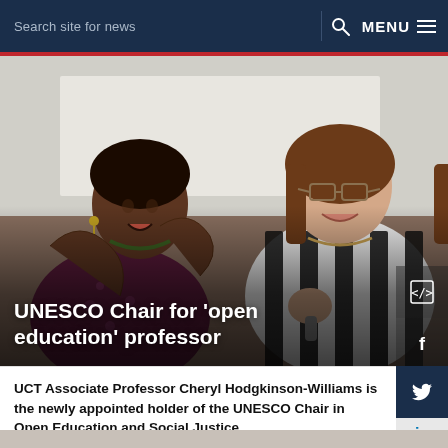Search site for news   MENU
[Figure (photo): Two women engaged in animated conversation, one in a purple/maroon patterned outfit with hands raised, the other in a black-and-white striped top wearing glasses, in what appears to be a meeting or seminar setting.]
UNESCO Chair for ‘open education’ professor
UCT Associate Professor Cheryl Hodgkinson-Williams is the newly appointed holder of the UNESCO Chair in Open Education and Social Justice.
08 MAR 2019 - 5 min read